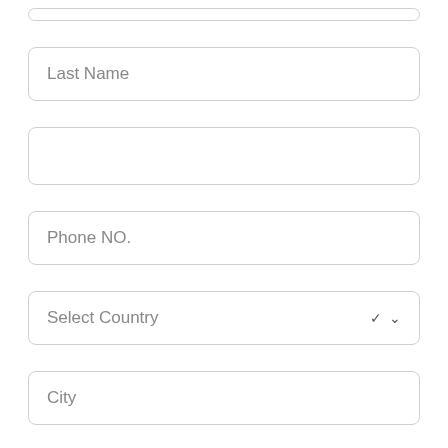[Figure (other): Partial form field at top (cropped from previous section)]
Last Name
Phone NO.
Select Country
City
Select Hospital